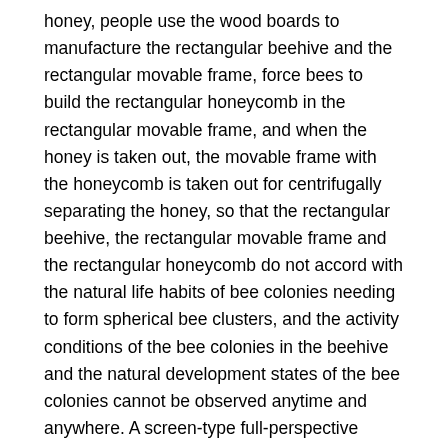honey, people use the wood boards to manufacture the rectangular beehive and the rectangular movable frame, force bees to build the rectangular honeycomb in the rectangular movable frame, and when the honey is taken out, the movable frame with the honeycomb is taken out for centrifugally separating the honey, so that the rectangular beehive, the rectangular movable frame and the rectangular honeycomb do not accord with the natural life habits of bee colonies needing to form spherical bee clusters, and the activity conditions of the bee colonies in the beehive and the natural development states of the bee colonies cannot be observed anytime and anywhere. A screen-type full-perspective automatic constant-temperature beehive (No. CN102823520B, invented by the present company) is composed of a transparent beehive body arranged on an automatic constant-temperature base box, a transparent top cover plate with an air vent in the middle and a shading and heat-insulating cover covering the transparent beehive body. When the beehive is directly used for production, the natural honey comb spleens in the existing transparent beehive body cannot centrifugally separate honey and cannot transversely divide the honey comb spleens at the top, so that honey taking is very...